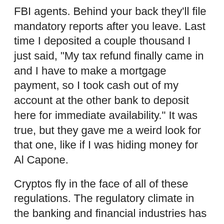FBI agents. Behind your back they'll file mandatory reports after you leave. Last time I deposited a couple thousand I just said, "My tax refund finally came in and I have to make a mortgage payment, so I took cash out of my account at the other bank to deposit here for immediate availability." It was true, but they gave me a weird look for that one, like if I was hiding money for Al Capone.
Cryptos fly in the face of all of these regulations. The regulatory climate in the banking and financial industries has been designed to help track down drug dealers, terrorists, mobsters, and others with foul intentions for society. None of the regulations are being kept in the crystosphere, and believe it when I say the US government is ready to swoop in. They are just waiting for the most opportune moment, and meanwhile they get a front row seat to observe the latest innovations as well as public sentiment.
What it means is that if we have a FedCoin (or whatever they'll call it), all transactions can be traced,